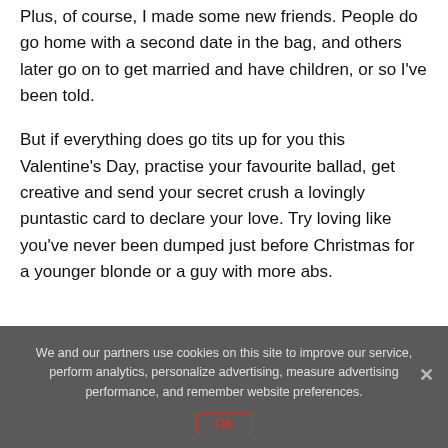Plus, of course, I made some new friends. People do go home with a second date in the bag, and others later go on to get married and have children, or so I've been told.
But if everything does go tits up for you this Valentine's Day, practise your favourite ballad, get creative and send your secret crush a lovingly puntastic card to declare your love. Try loving like you've never been dumped just before Christmas for a younger blonde or a guy with more abs.
We and our partners use cookies on this site to improve our service, perform analytics, personalize advertising, measure advertising performance, and remember website preferences.
Ok